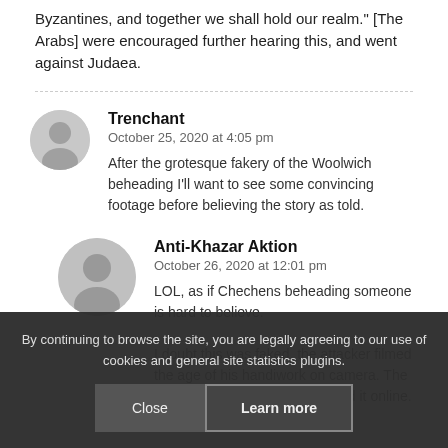Byzantines, and together we shall hold our realm." [The Arabs] were encouraged further hearing this, and went against Judaea.
Trenchant
October 25, 2020 at 4:05 pm
After the grotesque fakery of the Woolwich beheading I'll want to see some convincing footage before believing the story as told.
Anti-Khazar Aktion
October 26, 2020 at 12:01 pm
LOL, as if Chechens beheading someone is hard to believe.
I doubt this was faked, the attacker filmed the age of his handiwork on camera. The deed was done and you can find it online.
By continuing to browse the site, you are legally agreeing to our use of cookies and general site statistics plugins.